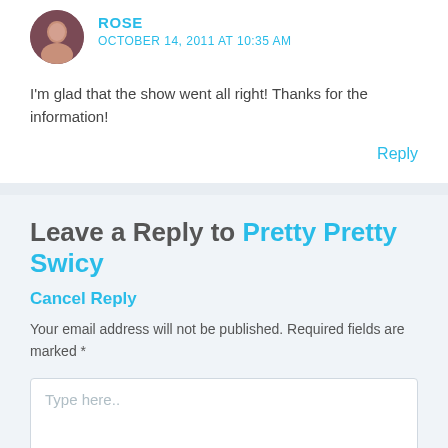ROSE
OCTOBER 14, 2011 AT 10:35 AM
I'm glad that the show went all right! Thanks for the information!
Reply
Leave a Reply to Pretty Pretty Swicy
Cancel Reply
Your email address will not be published. Required fields are marked *
Type here..